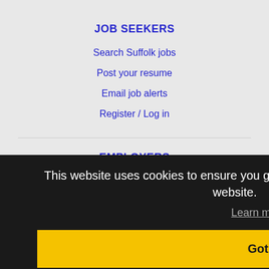JOB SEEKERS
Search Suffolk jobs
Post your resume
Email job alerts
Register / Log in
EMPLOYERS
Post jobs
This website uses cookies to ensure you get the best experience on our website.
Learn more
Got it!
IMMIGRATION SPECIALISTS
Post jobs